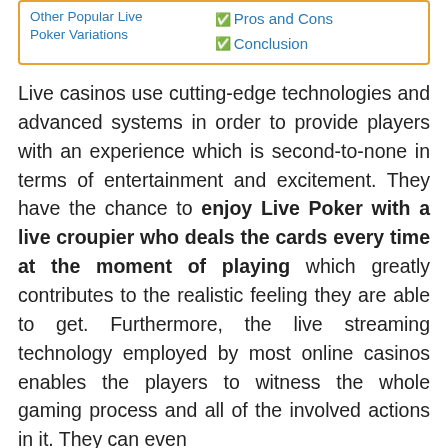Other Popular Live Poker Variations
Pros and Cons
Conclusion
Live casinos use cutting-edge technologies and advanced systems in order to provide players with an experience which is second-to-none in terms of entertainment and excitement. They have the chance to enjoy Live Poker with a live croupier who deals the cards every time at the moment of playing which greatly contributes to the realistic feeling they are able to get. Furthermore, the live streaming technology employed by most online casinos enables the players to witness the whole gaming process and all of the involved actions in it. They can even